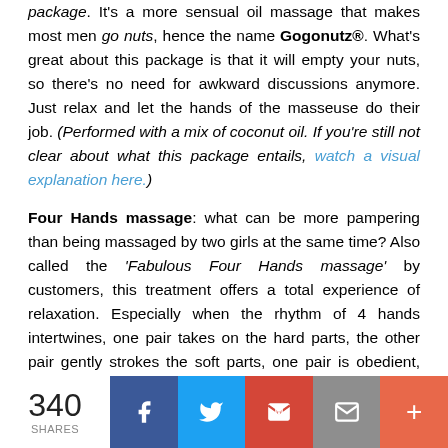package. It's a more sensual oil massage that makes most men go nuts, hence the name Gogonutz®. What's great about this package is that it will empty your nuts, so there's no need for awkward discussions anymore. Just relax and let the hands of the masseuse do their job. (Performed with a mix of coconut oil. If you're still not clear about what this package entails, watch a visual explanation here.)
Four Hands massage: what can be more pampering than being massaged by two girls at the same time? Also called the 'Fabulous Four Hands massage' by customers, this treatment offers a total experience of relaxation. Especially when the rhythm of 4 hands intertwines, one pair takes on the hard parts, the other pair gently strokes the soft parts, one pair is obedient, the other dominant, you can surrender totally to the reign of hands.
340 SHARES